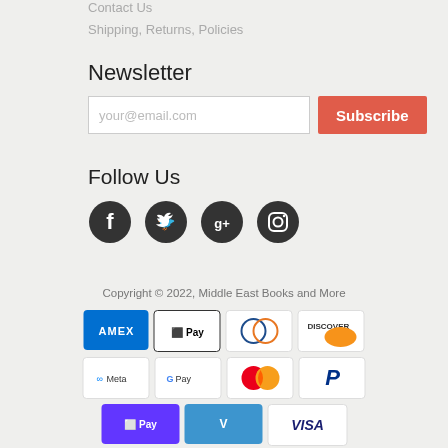Contact Us
Shipping, Returns, Policies
Newsletter
your@email.com  [Subscribe]
Follow Us
[Figure (other): Social media icons: Facebook, Twitter, Google+, Instagram]
Copyright © 2022, Middle East Books and More
[Figure (other): Payment method logos: AMEX, Apple Pay, Diners Club, Discover, Meta Pay, Google Pay, Mastercard, PayPal, Shop Pay, Venmo, Visa]